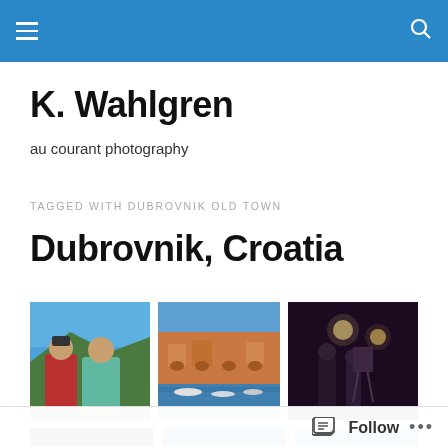K. Wahlgren — navigation header bar with hamburger menu and search icon
K. Wahlgren
au courant photography
TAGGED WITH DUBROVNIK OLD TOWN
Dubrovnik, Croatia
[Figure (photo): Two people standing outdoors with blue sky and green hills in background]
[Figure (photo): Harbor with boats and orange stone building facade in Dubrovnik]
[Figure (photo): Dark night scene with lights and people indoors]
[Figure (photo): Partial row of three more photos — cropped at bottom]
Follow   ...